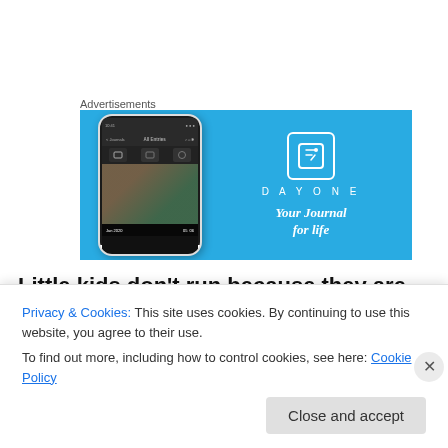Advertisements
[Figure (screenshot): DayOne journal app advertisement banner with blue background showing a phone mockup and the text 'DAYONE - Your Journal for life']
Little kids don’t run because they are worried about cholesterol, or their weight, or the red velvet cake they ate
Privacy & Cookies: This site uses cookies. By continuing to use this website, you agree to their use.
To find out more, including how to control cookies, see here: Cookie Policy
Close and accept